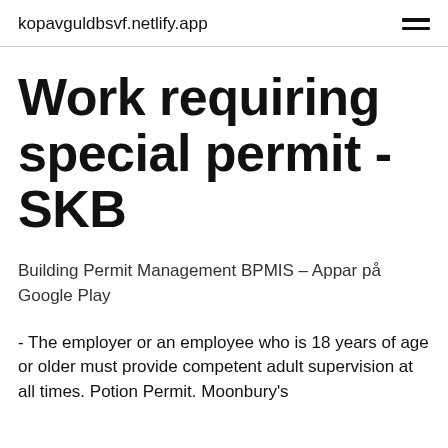kopavguldbsvf.netlify.app
Work requiring special permit - SKB
Building Permit Management BPMIS – Appar på Google Play
- The employer or an employee who is 18 years of age or older must provide competent adult supervision at all times. Potion Permit. Moonbury's